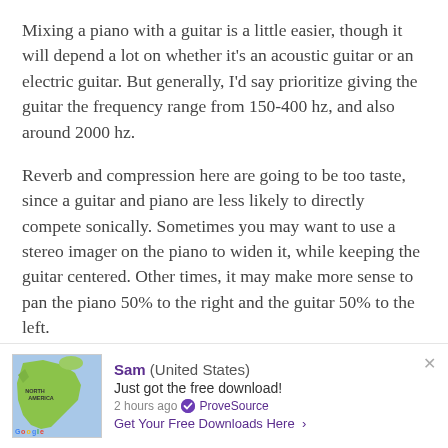Mixing a piano with a guitar is a little easier, though it will depend a lot on whether it's an acoustic guitar or an electric guitar. But generally, I'd say prioritize giving the guitar the frequency range from 150-400 hz, and also around 2000 hz.
Reverb and compression here are going to be too taste, since a guitar and piano are less likely to directly compete sonically. Sometimes you may want to use a stereo imager on the piano to widen it, while keeping the guitar centered. Other times, it may make more sense to pan the piano 50% to the right and the guitar 50% to the left.
[Figure (other): Notification widget showing a map of North America with a user notification: Sam (United States) Just got the free download! 2 hours ago ProveSource. Get Your Free Downloads Here arrow.]